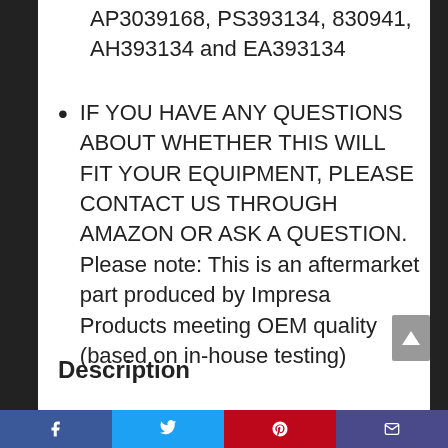AP3039168, PS393134, 830941, AH393134 and EA393134
IF YOU HAVE ANY QUESTIONS ABOUT WHETHER THIS WILL FIT YOUR EQUIPMENT, PLEASE CONTACT US THROUGH AMAZON OR ASK A QUESTION. Please note: This is an aftermarket part produced by Impresa Products meeting OEM quality (based on in-house testing)
Description